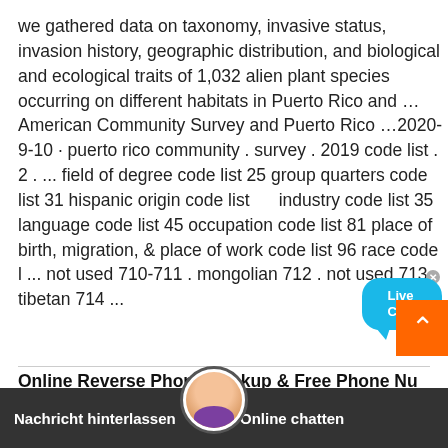we gathered data on taxonomy, invasive status, invasion history, geographic distribution, and biological and ecological traits of 1,032 alien plant species occurring on different habitats in Puerto Rico and …American Community Survey and Puerto Rico …2020-9-10 · puerto rico community . survey . 2019 code list . 2 . ... field of degree code list 25 group quarters code list 31 hispanic origin code list industry code list 35 language code list 45 occupation code list 81 place of birth, migration, & place of work code list 96 race code l ... not used 710-711 . mongolian 712 . not used 713 . tibetan 714 ...
Online Reverse Phone Lookup & Free Phone Nu
2022-1-2 · Run a reverse number lookup to un
contact information includi me, address, online activity, social-networking profiles and photos associated